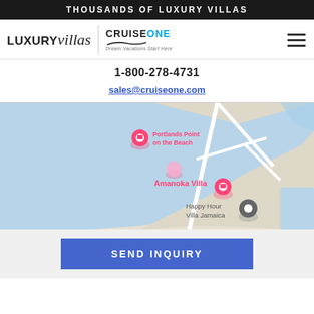THOUSANDS OF LUXURY VILLAS
[Figure (logo): LUXURYvillas | CRUISE ONE Dream Vacations Start Here logo with hamburger menu icon]
1-800-278-4731
sales@cruiseone.com
[Figure (map): Google Maps showing coastal area with markers: Portlands Point on the Beach, Amanoka Villa, Happy Hour Villa Jamaica]
SEND INQUIRY